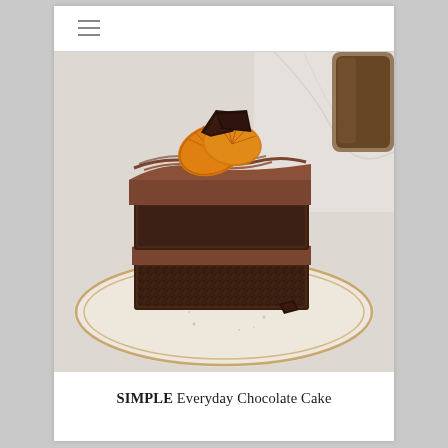≡
[Figure (photo): A slice of layered chocolate cake with chocolate mousse frosting between layers, topped with candied orange slices and dark chocolate shards, served on a speckled ceramic plate on a marble surface. A dark glass is partially visible in the background.]
SIMPLE Everyday Chocolate Cake